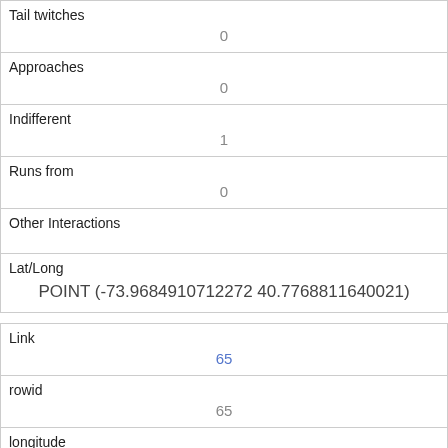| Tail twitches | 0 |
| Approaches | 0 |
| Indifferent | 1 |
| Runs from | 0 |
| Other Interactions |  |
| Lat/Long | POINT (-73.9684910712272 40.7768811640021) |
| Link | 65 |
| rowid | 65 |
| longitude | -73.9741824992294 |
| latitude | 40.7689486657963 |